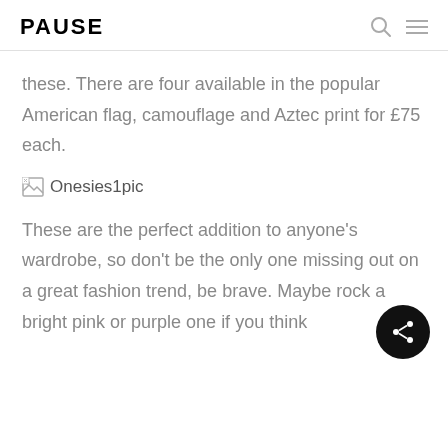PAUSE
these. There are four available in the popular American flag, camouflage and Aztec print for £75 each.
[Figure (photo): Broken image placeholder labeled 'Onesies1pic']
These are the perfect addition to anyone's wardrobe, so don't be the only one missing out on a great fashion trend, be brave. Maybe rock a bright pink or purple one if you think